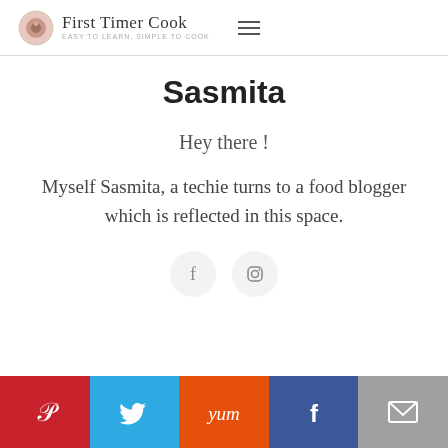First Timer Cook
Sasmita
Hey there !
Myself Sasmita, a techie turns to a food blogger which is reflected in this space.
[Figure (infographic): Social media icons: Facebook and Instagram circular buttons]
[Figure (infographic): Bottom share bar with Pinterest, Twitter, Yummly, Facebook, and Email icons]